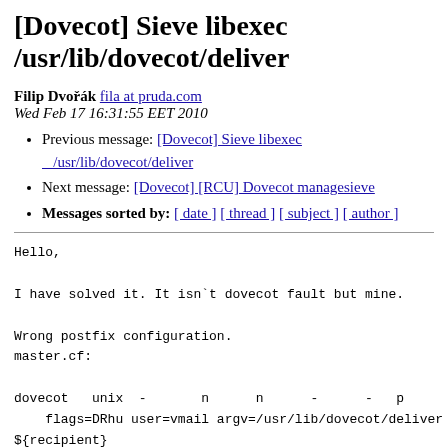[Dovecot] Sieve libexec /usr/lib/dovecot/deliver
Filip Dvořák fila at pruda.com
Wed Feb 17 16:31:55 EET 2010
Previous message: [Dovecot] Sieve libexec /usr/lib/dovecot/deliver
Next message: [Dovecot] [RCU] Dovecot managesieve
Messages sorted by: [ date ] [ thread ] [ subject ] [ author ]
Hello,

I have solved it. It isn`t dovecot fault but mine.

Wrong postfix configuration.
master.cf:

dovecot   unix  -       n      n      -      -   p
    flags=DRhu user=vmail argv=/usr/lib/dovecot/deliver -
${recipient}

I had /usr/libexec/dovecot/deliver .